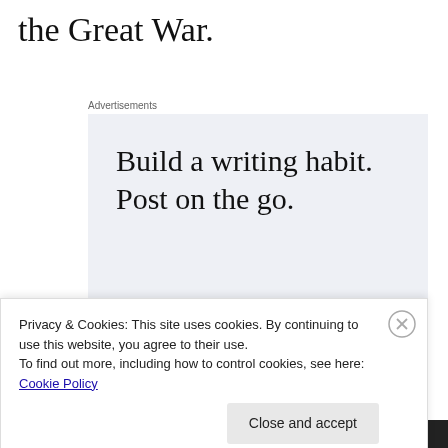the Great War.
Advertisements
[Figure (illustration): Advertisement box with light blue-grey background. Large serif text reads: 'Build a writing habit. Post on the go.' with a WordPress app icon at the bottom right.]
Privacy & Cookies: This site uses cookies. By continuing to use this website, you agree to their use.
To find out more, including how to control cookies, see here: Cookie Policy
Close and accept